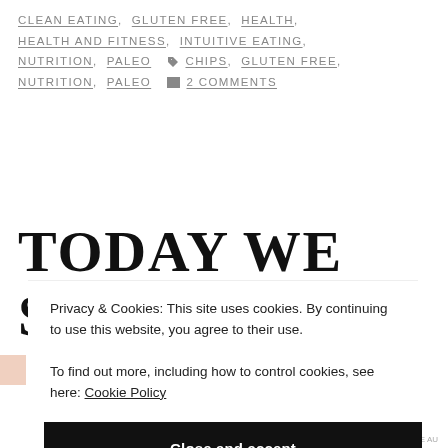CLEAN EATING, GLUTEN FREE, HEALTH, HEALTH AND FITNESS, INTUITIVE EATING, NUTRITION, PALEO
CHIPS, GLUTEN FREE, NUTRITION, PALEO
2 COMMENTS
TODAY WE SAID
Privacy & Cookies: This site uses cookies. By continuing to use this website, you agree to their use. To find out more, including how to control cookies, see here: Cookie Policy
Close and accept